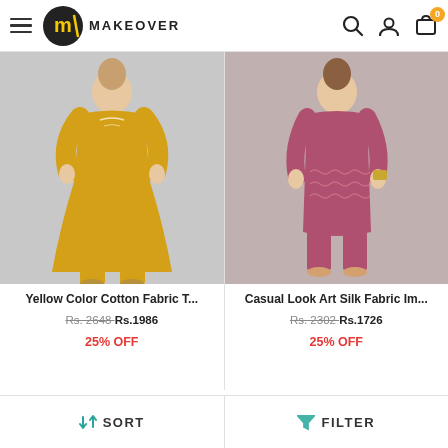MAKEOVER — navigation header with hamburger menu, logo, search, user, and cart icons
[Figure (photo): Yellow Color Cotton Fabric kurti and pants set on female model, gray background]
Yellow Color Cotton Fabric T...
Rs. 2648 Rs.1986 25% OFF
[Figure (photo): Casual Look Art Silk Fabric dark pink/mauve kurti and pants set on female model, gray background]
Casual Look Art Silk Fabric Im...
Rs. 2302 Rs.1726 25% OFF
SORT   FILTER